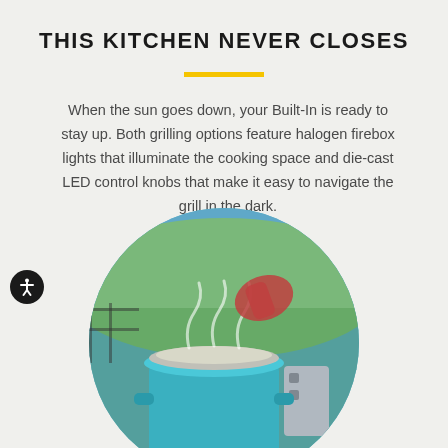THIS KITCHEN NEVER CLOSES
When the sun goes down, your Built-In is ready to stay up. Both grilling options feature halogen firebox lights that illuminate the cooking space and die-cast LED control knobs that make it easy to navigate the grill in the dark.
[Figure (photo): Circular photo of a teal/blue large pot with steam rising, being cooked on an outdoor built-in grill on a patio with mountains and blue sky in the background. A person wearing an oven mitt is visible at the top.]